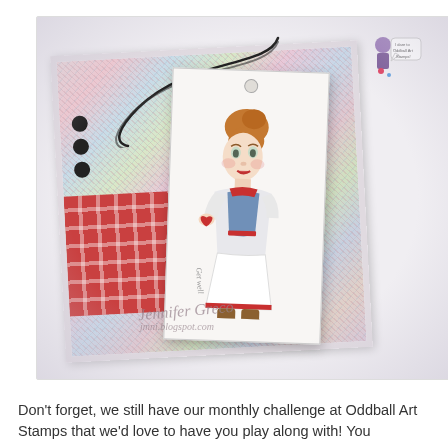[Figure (photo): A handmade greeting card craft project photo. Shows a decorative card with colorful marbled/swirled patterned paper background (pink, blue, green tones), a red cross-pattern section at bottom left, three black circular dots on the left side, black twine/cord looping around, and a tag-style card in front featuring an illustrated girl with auburn updo hair wearing a white and denim outfit with red trim (nurse/get well theme). A small decorative stamp with a figure and speech bubble is visible at top right. The card sits on a white surface. A handwritten-style watermark reads 'Jennifer Greco' with a blog URL. 'Get well' text curves along the right side of the tag.]
Don't forget, we still have our monthly challenge at Oddball Art Stamps that we'd love to have you play along with! You